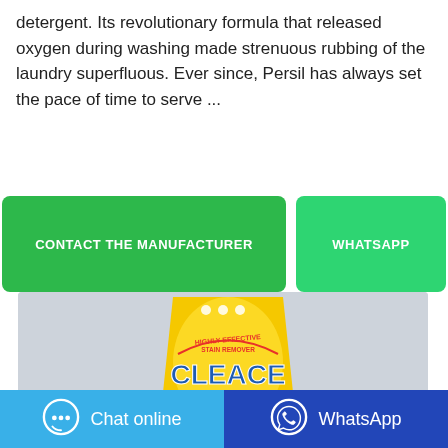detergent. Its revolutionary formula that released oxygen during washing made strenuous rubbing of the laundry superfluous. Ever since, Persil has always set the pace of time to serve ...
CONTACT THE MANUFACTURER
WHATSAPP
[Figure (photo): A yellow bag of Cleace Lemon Freshness antibacterial washing powder with 'Highly Effective Stain Remover' text, shown against a gray background with three white dots at the top of the bag.]
Chat online
WhatsApp